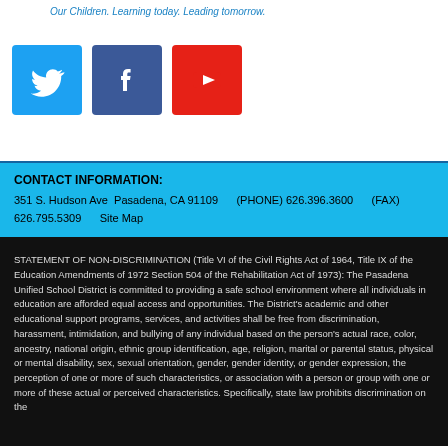Our Children. Learning today. Leading tomorrow.
[Figure (logo): Twitter, Facebook, and YouTube social media icons]
CONTACT INFORMATION:
351 S. Hudson Ave Pasadena, CA 91109    (PHONE) 626.396.3600    (FAX) 626.795.5309    Site Map
STATEMENT OF NON-DISCRIMINATION (Title VI of the Civil Rights Act of 1964, Title IX of the Education Amendments of 1972 Section 504 of the Rehabilitation Act of 1973): The Pasadena Unified School District is committed to providing a safe school environment where all individuals in education are afforded equal access and opportunities. The District's academic and other educational support programs, services, and activities shall be free from discrimination, harassment, intimidation, and bullying of any individual based on the person's actual race, color, ancestry, national origin, ethnic group identification, age, religion, marital or parental status, physical or mental disability, sex, sexual orientation, gender, gender identity, or gender expression, the perception of one or more of such characteristics, or association with a person or group with one or more of these actual or perceived characteristics. Specifically, state law prohibits discrimination on the